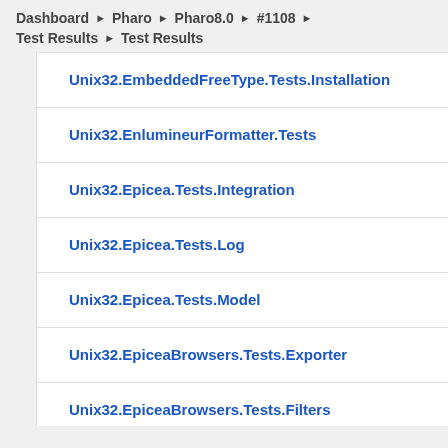Dashboard ▶ Pharo ▶ Pharo8.0 ▶ #1108 ▶ Test Results ▶ Test Results
Unix32.EmbeddedFreeType.Tests.Installation
Unix32.EnlumineurFormatter.Tests
Unix32.Epicea.Tests.Integration
Unix32.Epicea.Tests.Log
Unix32.Epicea.Tests.Model
Unix32.EpiceaBrowsers.Tests.Exporter
Unix32.EpiceaBrowsers.Tests.Filters